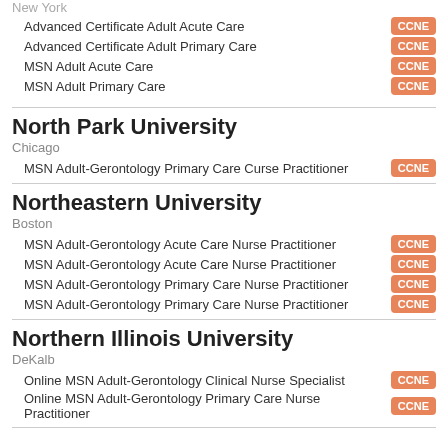New York
Advanced Certificate Adult Acute Care — CCNE
Advanced Certificate Adult Primary Care — CCNE
MSN Adult Acute Care — CCNE
MSN Adult Primary Care — CCNE
North Park University
Chicago
MSN Adult-Gerontology Primary Care Curse Practitioner — CCNE
Northeastern University
Boston
MSN Adult-Gerontology Acute Care Nurse Practitioner — CCNE
MSN Adult-Gerontology Acute Care Nurse Practitioner — CCNE
MSN Adult-Gerontology Primary Care Nurse Practitioner — CCNE
MSN Adult-Gerontology Primary Care Nurse Practitioner — CCNE
Northern Illinois University
DeKalb
Online MSN Adult-Gerontology Clinical Nurse Specialist — CCNE
Online MSN Adult-Gerontology Primary Care Nurse Practitioner — CCNE